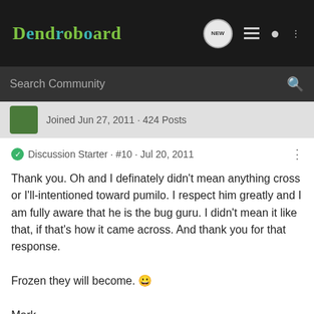Dendroboard
Search Community
Joined Jun 27, 2011 · 424 Posts
Discussion Starter · #10 · Jul 20, 2011
Thank you. Oh and I definately didn't mean anything cross or I'll-intentioned toward pumilo. I respect him greatly and I am fully aware that he is the bug guru. I didn't mean it like that, if that's how it came across. And thank you for that response.

Frozen they will become. 🙂

Mark
My Chazuta Build!